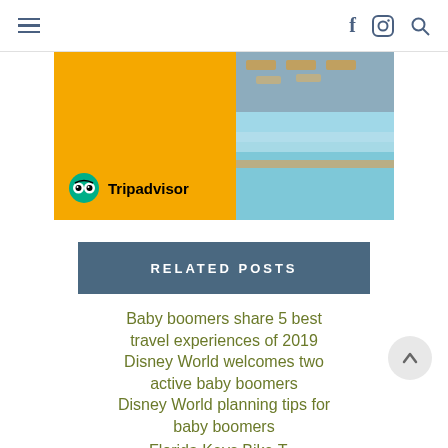Navigation header with hamburger menu, Facebook icon, Instagram icon, and search icon
[Figure (other): Tripadvisor advertisement banner with yellow background, pool photo on the right, and Tripadvisor logo at bottom left]
RELATED POSTS
Baby boomers share 5 best travel experiences of 2019
Disney World welcomes two active baby boomers
Disney World planning tips for baby boomers
Florida Keys Bike Tour